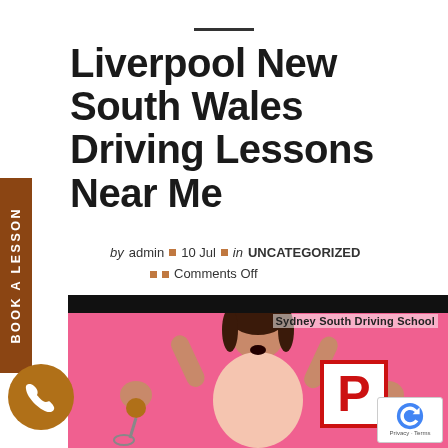Liverpool New South Wales Driving Lessons Near Me
by admin  •  10 Jul  •  in UNCATEGORIZED  •  •  Comments Off
[Figure (photo): Excited young woman with hands raised on pink background, holding P-plate driving sign, with car keys visible. Sydney South Driving School watermark. Google reCAPTCHA badge in corner.]